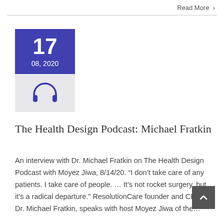Read More >
[Figure (illustration): Date block showing '17' in large white bold text on a purple/indigo background, with '08, 2020' below it. Under the date block is a light gray box containing a dark blue headphones icon.]
The Health Design Podcast: Michael Fratkin
An interview with Dr. Michael Fratkin on The Health Design Podcast with Moyez Jiwa, 8/14/20. “I don’t take care of any patients. I take care of people. … It’s not rocket surgery, but it’s a radical departure.” ResolutionCare founder and CEO, Dr. Michael Fratkin, speaks with host Moyez Jiwa of the…